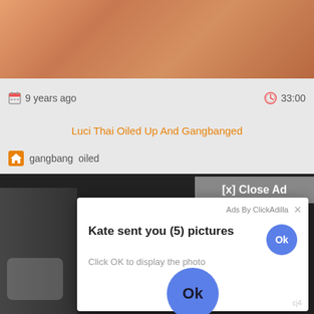[Figure (screenshot): Screenshot of a video website showing a video thumbnail at top, metadata row with '9 years ago' and '33:00', video title 'Luci Thai Oiled Up And Gangbanged', tags 'gangbang oiled', and an ad overlay popup saying 'Kate sent you (5) pictures / Click OK to display the photo' with blue Ok buttons and an 'Ads By ClickAdilla' close button, over a dark video player background.]